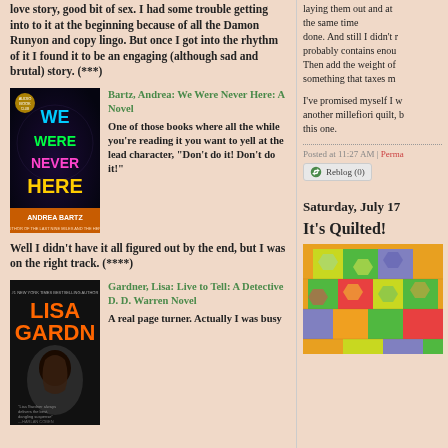love story, good bit of sex. I had some trouble getting into to it at the beginning because of all the Damon Runyon and copy lingo. But once I got into the rhythm of it I found it to be an engaging (although sad and brutal) story. (***)
[Figure (photo): Book cover for We Were Never Here by Andrea Bartz]
Bartz, Andrea: We Were Never Here: A Novel
One of those books where all the while you're reading it you want to yell at the lead character, "Don't do it! Don't do it!" Well I didn't have it all figured out by the end, but I was on the right track. (****)
[Figure (photo): Book cover for Live to Tell by Lisa Gardner]
Gardner, Lisa: Live to Tell: A Detective D. D. Warren Novel
A real page turner. Actually I was busy
laying them out and at the same time done. And still I didn't r... probably contains enou... Then add the weight of... something that taxes m...
I've promised myself I w... another millefiori quilt, b... this one.
Posted at 11:27 AM | Perma...
Reblog (0)
Saturday, July 17...
It's Quilted!
[Figure (photo): Colorful quilted fabric with green, yellow, red, blue patches]